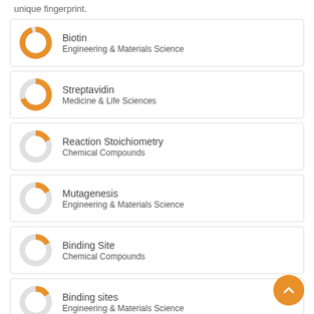unique fingerprint.
[Figure (donut-chart): Donut chart for Biotin, nearly fully filled orange, Engineering & Materials Science]
Biotin
Engineering & Materials Science
[Figure (donut-chart): Donut chart for Streptavidin, about 70% filled orange, Medicine & Life Sciences]
Streptavidin
Medicine & Life Sciences
[Figure (donut-chart): Donut chart for Reaction Stoichiometry, small orange segment, Chemical Compounds]
Reaction Stoichiometry
Chemical Compounds
[Figure (donut-chart): Donut chart for Mutagenesis, small orange segment, Engineering & Materials Science]
Mutagenesis
Engineering & Materials Science
[Figure (donut-chart): Donut chart for Binding Site, small orange segment, Chemical Compounds]
Binding Site
Chemical Compounds
[Figure (donut-chart): Donut chart for Binding sites, small orange segment, Engineering & Materials Science]
Binding sites
Engineering & Materials Science